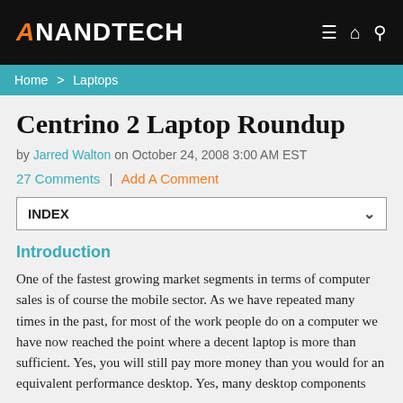AnandTech
Home > Laptops
Centrino 2 Laptop Roundup
by Jarred Walton on October 24, 2008 3:00 AM EST
27 Comments | Add A Comment
INDEX
Introduction
One of the fastest growing market segments in terms of computer sales is of course the mobile sector. As we have repeated many times in the past, for most of the work people do on a computer we have now reached the point where a decent laptop is more than sufficient. Yes, you will still pay more money than you would for an equivalent performance desktop. Yes, many desktop components